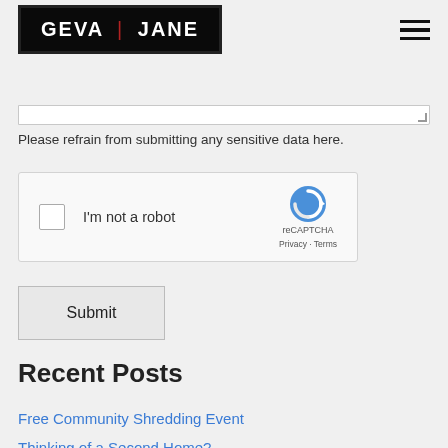GEVA | JANE
Please refrain from submitting any sensitive data here.
[Figure (other): reCAPTCHA widget with checkbox labeled 'I'm not a robot', reCAPTCHA logo, Privacy and Terms links]
Submit
Recent Posts
Free Community Shredding Event
Thinking of a Second Home?
Historically Charming Dutch Colonial in Aurora Hills